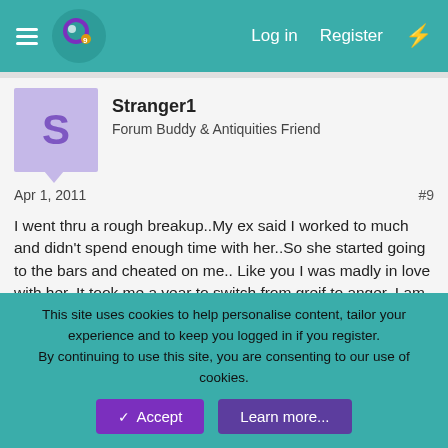Log in  Register
Stranger1
Forum Buddy & Antiquities Friend
Apr 1, 2011   #9
I went thru a rough breakup..My ex said I worked to much and didn't spend enough time with her..So she started going to the bars and cheated on me.. Like you I was madly in love with her..It took me a year to switch from greif to anger..I am not saying you will ever forget..But it will get better..
Wastingecho
Well-Known Member
This site uses cookies to help personalise content, tailor your experience and to keep you logged in if you register.
By continuing to use this site, you are consenting to our use of cookies.
Accept   Learn more...